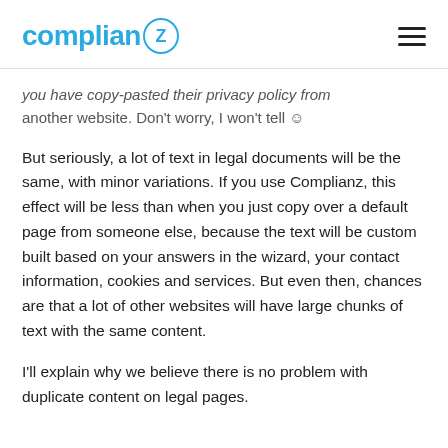complianz
you have copy-pasted their privacy policy from another website. Don't worry, I won't tell ☺
But seriously, a lot of text in legal documents will be the same, with minor variations. If you use Complianz, this effect will be less than when you just copy over a default page from someone else, because the text will be custom built based on your answers in the wizard, your contact information, cookies and services. But even then, chances are that a lot of other websites will have large chunks of text with the same content.
I'll explain why we believe there is no problem with duplicate content on legal pages.